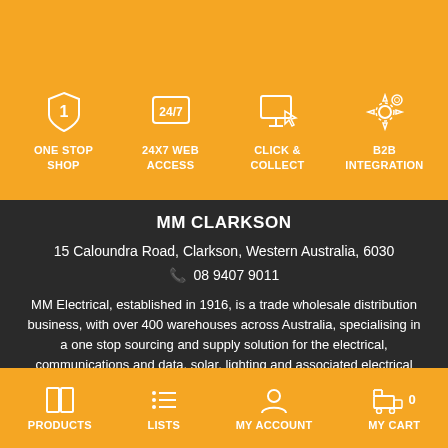[Figure (infographic): Four icons on orange background: numbered 1 (ONE STOP SHOP), clock/24-7 (24X7 WEB ACCESS), cursor/click (CLICK & COLLECT), gear/settings (B2B INTEGRATION)]
MM CLARKSON
15 Caloundra Road, Clarkson, Western Australia, 6030
08 9407 9011
MM Electrical, established in 1916, is a trade wholesale distribution business, with over 400 warehouses across Australia, specialising in a one stop sourcing and supply solution for the electrical, communications and data, solar, lighting and associated electrical component markets.
[Figure (infographic): Bottom navigation bar with four icons: PRODUCTS (book icon), LISTS (list icon), MY ACCOUNT (person icon), MY CART (forklift icon with badge 0)]